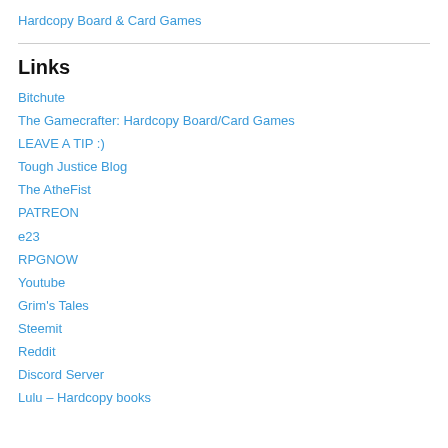Hardcopy Board & Card Games
Links
Bitchute
The Gamecrafter: Hardcopy Board/Card Games
LEAVE A TIP :)
Tough Justice Blog
The AtheFist
PATREON
e23
RPGNOW
Youtube
Grim's Tales
Steemit
Reddit
Discord Server
Lulu – Hardcopy books